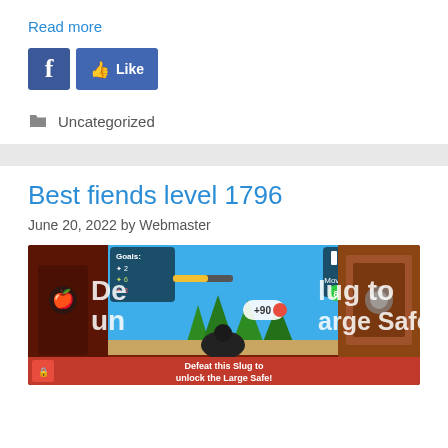Read more
[Figure (screenshot): Facebook share button (blue 'f' icon) and a blue Like button with thumbs up icon]
📁 Uncategorized
Best fiends level 1796
June 20, 2022 by Webmaster
[Figure (screenshot): Game screenshot showing Best Fiends level 1796 gameplay with goals panel, moves counter showing 8, +90 score popup, slug character, and 'Defeat this Slug to unlock the Large Safe!' message at bottom]